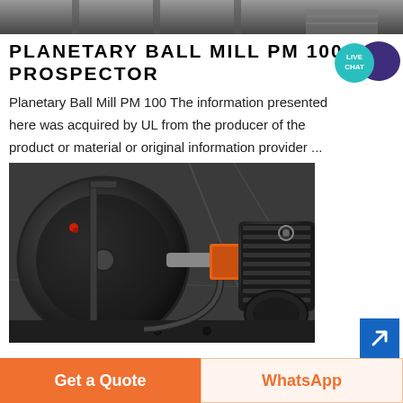[Figure (photo): Top partial photo of industrial facility with pillars and stairs, dark tones]
PLANETARY BALL MILL PM 100 UL PROSPECTOR
Planetary Ball Mill PM 100 The information presented here was acquired by UL from the producer of the product or material or original information provider ...
[Figure (photo): Industrial planetary ball mill machine with large black drum, orange and black motor assembly, photographed in a factory setting]